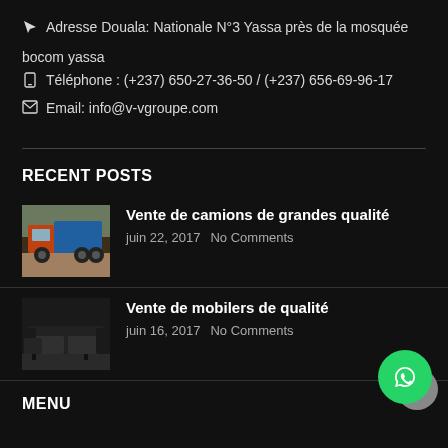Adresse Douala: Nationale N°3 Yassa près de la mosquée bocom yassa
Téléphone : (+237) 650-27-36-50 / (+237) 656-69-96-17
Email: info@v-vgroupe.com
RECENT POSTS
[Figure (photo): Thumbnail photo of an orange and blue truck/lorry parked outdoors]
Vente de camions de grandes qualité
juin 22, 2017  No Comments
[Figure (photo): Thumbnail photo of black sofas/furniture set]
Vente de mobilers de qualité
juin 16, 2017  No Comments
MENU